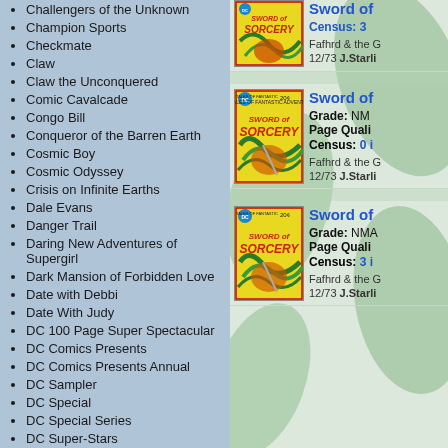Challengers of the Unknown
Champion Sports
Checkmate
Claw
Claw the Unconquered
Comic Cavalcade
Congo Bill
Conqueror of the Barren Earth
Cosmic Boy
Cosmic Odyssey
Crisis on Infinite Earths
Dale Evans
Danger Trail
Daring New Adventures of Supergirl
Dark Mansion of Forbidden Love
Date with Debbi
Date With Judy
DC 100 Page Super Spectacular
DC Comics Presents
DC Comics Presents Annual
DC Sampler
DC Special
DC Special Series
DC Super-Stars
Deadman
Debbi's Dates
Dectective
Demon
Demon (Mini)
Detective
[Figure (illustration): Comic book cover: Sword of Sorcery, DC Tales of Fantastic Adventure, 20 cents, featuring sword and sorcery scene with green tentacles]
Sword of
Grade: NM
Page Quali
Census: 0 i
Fafhrd & the G 12/73 J.Starli
[Figure (illustration): Comic book cover: Sword of Sorcery, DC Tales of Fantastic Adventure, 20 cents, featuring sword and sorcery scene with green tentacles]
Sword of
Grade: NMA
Page Quali
Census: 3 i
Fafhrd & the G 12/73 J.Starli